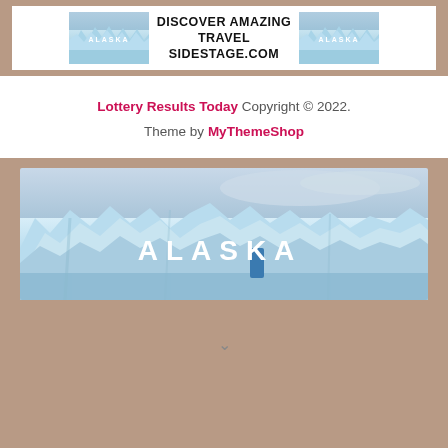[Figure (screenshot): Top banner ad showing two small Alaska glacier images flanking centered bold text 'DISCOVER AMAZING TRAVEL SIDESTAGE.COM']
Lottery Results Today Copyright © 2022. Theme by MyThemeShop
[Figure (photo): Large Alaska glacier photo with white bold text 'ALASKA' centered on image]
↓